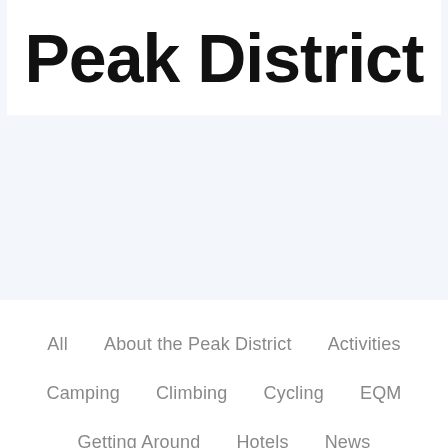Peak District
All
About the Peak District
Activities
Camping
Climbing
Cycling
EQM
Getting Around
Hotels
News
Places
Places To Visit
Pubs and Restaurants
Things to do
Uncategorized
Visiting
Walking